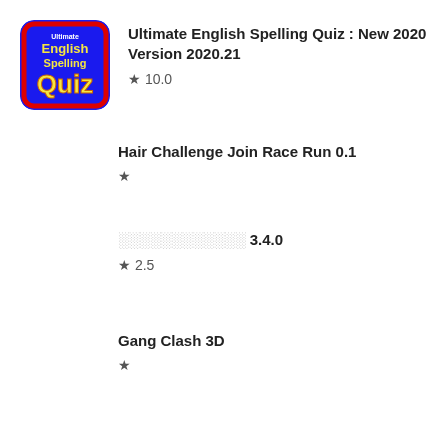[Figure (illustration): App icon for Ultimate English Spelling Quiz — blue background with red border, yellow text 'English Spelling Quiz']
Ultimate English Spelling Quiz : New 2020 Version 2020.21
★ 10.0
Hair Challenge Join Race Run 0.1
★
░░░░░░░░░░░░ 3.4.0
★ 2.5
Gang Clash 3D
★